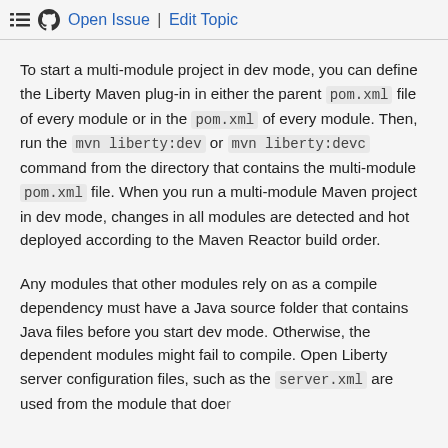Open Issue | Edit Topic
To start a multi-module project in dev mode, you can define the Liberty Maven plug-in in either the parent pom.xml file of every module or in the pom.xml of every module. Then, run the mvn liberty:dev or mvn liberty:devc command from the directory that contains the multi-module pom.xml file. When you run a multi-module Maven project in dev mode, changes in all modules are detected and hot deployed according to the Maven Reactor build order.
Any modules that other modules rely on as a compile dependency must have a Java source folder that contains Java files before you start dev mode. Otherwise, the dependent modules might fail to compile. Open Liberty server configuration files, such as the server.xml are used from the module that does...